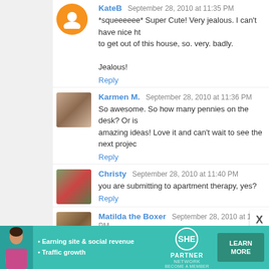KateB  September 28, 2010 at 11:35 PM
*squeeeeee* Super Cute! Very jealous. I can't have nice ht... to get out of this house, so. very. badly.
Jealous!
Reply
Karmen M.  September 28, 2010 at 11:36 PM
So awesome. So how many pennies on the desk? Or is... amazing ideas! Love it and can't wait to see the next projec...
Reply
Christy  September 28, 2010 at 11:40 PM
you are submitting to apartment therapy, yes?
Reply
Matilda the Boxer  September 28, 2010 at 11:41 PM
That is just flat-out awesome!!! I'm so impressed by yo...
[Figure (infographic): SHE Partner Network advertisement banner with woman photo, bullet points about earning site & social revenue and traffic growth, SHE logo, and LEARN MORE button]